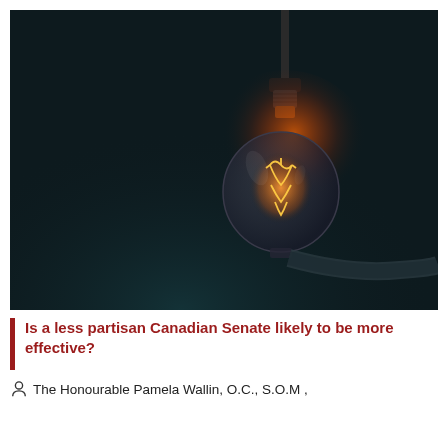[Figure (photo): Photograph of a glowing Edison-style incandescent light bulb with visible filament, hanging from a cord against a very dark near-black background with subtle blue-green tones.]
Is a less partisan Canadian Senate likely to be more effective?
The Honourable Pamela Wallin, O.C., S.O.M ,